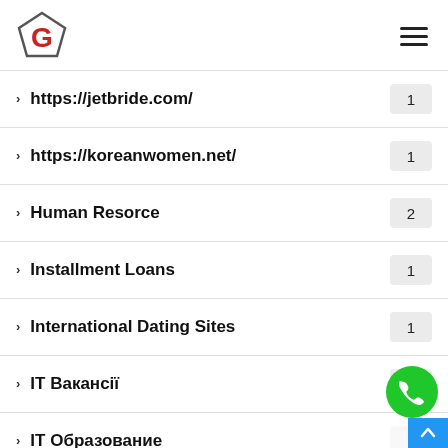G logo and hamburger menu
https://jetbride.com/ — 1
https://koreanwomen.net/ — 1
Human Resorce — 2
Installment Loans — 1
International Dating Sites — 1
IT Вакансії — 1
IT Образование — 1
japanese brides — 1